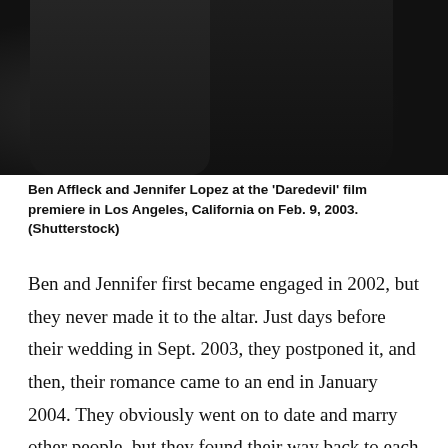[Figure (photo): Photo of Ben Affleck and Jennifer Lopez at the Daredevil film premiere, showing figures in dark clothing against a dark background]
Ben Affleck and Jennifer Lopez at the 'Daredevil' film premiere in Los Angeles, California on Feb. 9, 2003. (Shutterstock)
Ben and Jennifer first became engaged in 2002, but they never made it to the altar. Just days before their wedding in Sept. 2003, they postponed it, and then, their romance came to an end in January 2004. They obviously went on to date and marry other people, but they found their way back to each other earlier this year, and now fans are hopeful a wedding may be next.